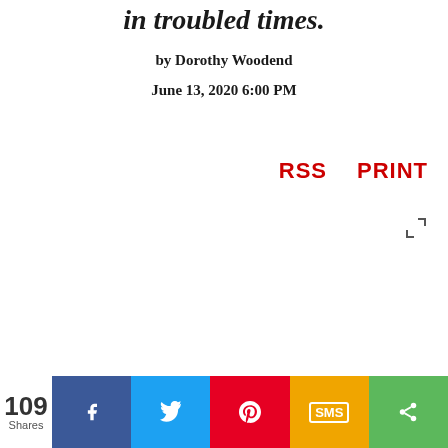in troubled times.
by Dorothy Woodend
June 13, 2020 6:00 PM
RSS   PRINT
109 Shares